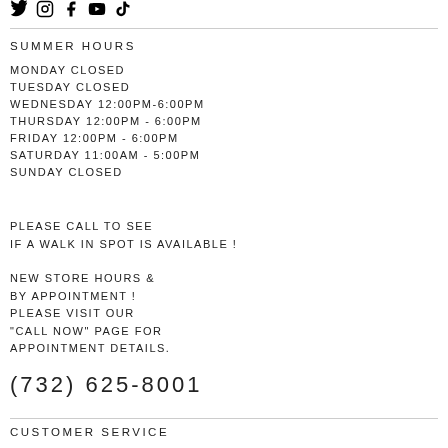[Figure (illustration): Social media icons: Twitter, Instagram, Facebook, YouTube, TikTok]
SUMMER HOURS
MONDAY CLOSED
TUESDAY CLOSED
WEDNESDAY 12:00PM-6:00PM
THURSDAY 12:00PM - 6:00PM
FRIDAY 12:00PM - 6:00PM
SATURDAY 11:00AM - 5:00PM
SUNDAY CLOSED
PLEASE CALL TO SEE
IF A WALK IN SPOT IS AVAILABLE !
NEW STORE HOURS &
BY APPOINTMENT !
PLEASE VISIT OUR
"CALL NOW" PAGE FOR
APPOINTMENT DETAILS.
(732) 625-8001
CUSTOMER SERVICE